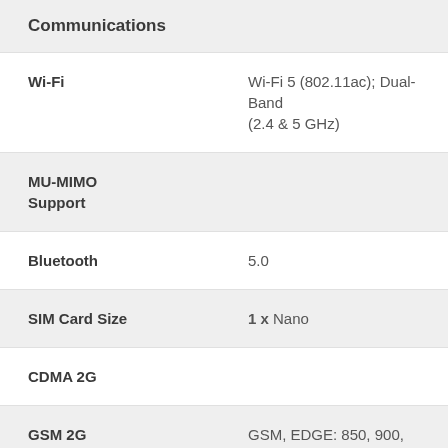Communications
| Feature | Value |
| --- | --- |
| Wi-Fi | Wi-Fi 5 (802.11ac); Dual-Band (2.4 & 5 GHz) |
| MU-MIMO Support |  |
| Bluetooth | 5.0 |
| SIM Card Size | 1 x Nano |
| CDMA 2G |  |
| GSM 2G | GSM, EDGE: 850, 900, 1800, 1900 MHz |
| GSM 3G/3.5G | UMTS, HSPA+: 850, 900, 1700, |